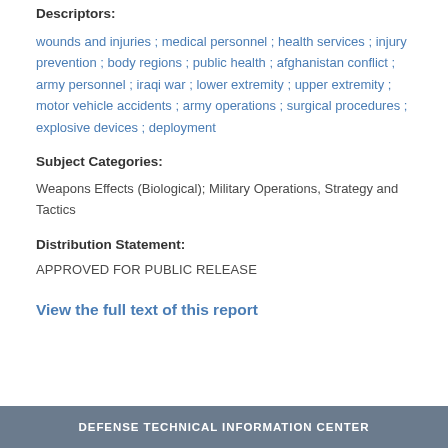Descriptors:
wounds and injuries ; medical personnel ; health services ; injury prevention ; body regions ; public health ; afghanistan conflict ; army personnel ; iraqi war ; lower extremity ; upper extremity ; motor vehicle accidents ; army operations ; surgical procedures ; explosive devices ; deployment
Subject Categories:
Weapons Effects (Biological); Military Operations, Strategy and Tactics
Distribution Statement:
APPROVED FOR PUBLIC RELEASE
View the full text of this report
DEFENSE TECHNICAL INFORMATION CENTER